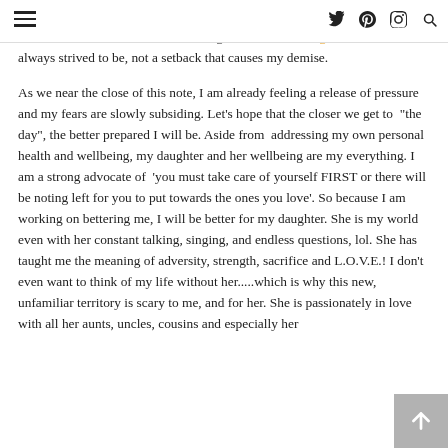hamburger menu | twitter | pinterest | instagram | search icons
support from my family and dearest friends as I walk into this head first. This situation will be another building block to becoming the woman I have always strived to be, not a setback that causes my demise.

As we near the close of this note, I am already feeling a release of pressure and my fears are slowly subsiding. Let's hope that the closer we get to "the day", the better prepared I will be. Aside from addressing my own personal health and wellbeing, my daughter and her wellbeing are my everything. I am a strong advocate of 'you must take care of yourself FIRST or there will be noting left for you to put towards the ones you love'. So because I am working on bettering me, I will be better for my daughter. She is my world even with her constant talking, singing, and endless questions, lol. She has taught me the meaning of adversity, strength, sacrifice and L.O.V.E.! I don't even want to think of my life without her.....which is why this new, unfamiliar territory is scary to me, and for her. She is passionately in love with all her aunts, uncles, cousins and especially her